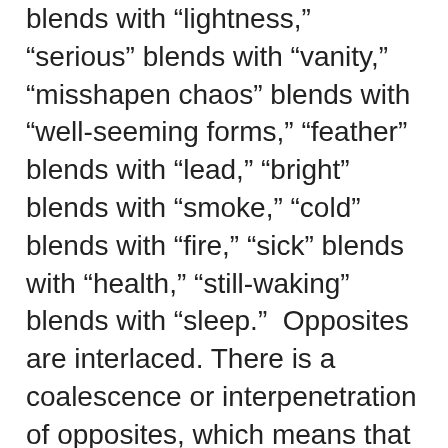blends with “lightness,” “serious” blends with “vanity,” “misshapen chaos” blends with “well-seeming forms,” “feather” blends with “lead,” “bright” blends with “smoke,” “cold” blends with “fire,” “sick” blends with “health,” “still-waking” blends with “sleep.”  Opposites are interlaced.  There is a coalescence or interpenetration of opposites, which means that love, for Shakespeare, is unsystematizable—for only that which is simple and undifferentiated can be systematized.
Rosaline is not named explicitly until the second scene of the first act, when Romeo recites the list of invited guests to Capulet’s feast.  She is first among several, the earliest of a